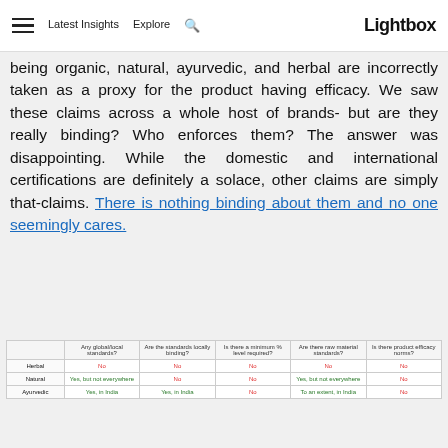Latest Insights   Explore   [search]   Lightbox
being organic, natural, ayurvedic, and herbal are incorrectly taken as a proxy for the product having efficacy. We saw these claims across a whole host of brands- but are they really binding? Who enforces them? The answer was disappointing. While the domestic and international certifications are definitely a solace, other claims are simply that-claims. There is nothing binding about them and no one seemingly cares.
|  | Any global/local standards? | Are the standards locally binding? | Is there a minimum % level required? | Are there raw material standards? | Is there product efficacy norms? |
| --- | --- | --- | --- | --- | --- |
| Herbal | No | No | No | No | No |
| Natural | Yes, but not everywhere | No | No | Yes, but not everywhere | No |
| Ayurvedic | Yes, in India | Yes, in India | No | To an extent, in India | No |